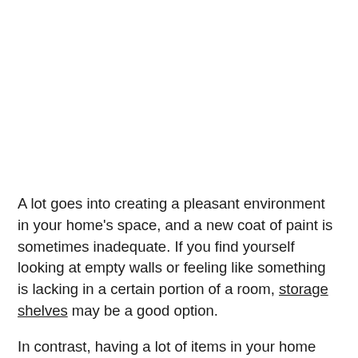A lot goes into creating a pleasant environment in your home's space, and a new coat of paint is sometimes inadequate. If you find yourself looking at empty walls or feeling like something is lacking in a certain portion of a room, storage shelves may be a good option.
In contrast, having a lot of items in your home may have both advantages and disadvantages. While you can always overwhelm your space with many things, it can